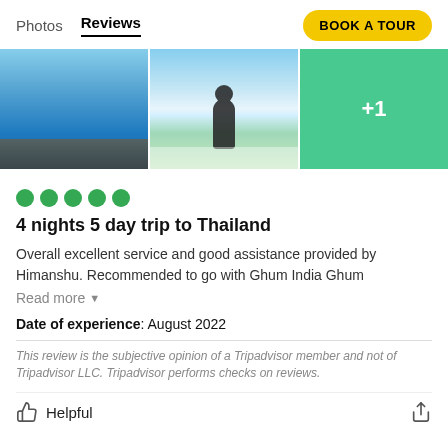Photos  Reviews  BOOK A TOUR
[Figure (photo): Three travel photos: an infinity pool, a person on a beach, and two people on a green-tinted beach with +1 overlay]
4 nights 5 day trip to Thailand
Overall excellent service and good assistance provided by Himanshu. Recommended to go with Ghum India Ghum
Read more
Date of experience: August 2022
This review is the subjective opinion of a Tripadvisor member and not of Tripadvisor LLC. Tripadvisor performs checks on reviews.
Helpful